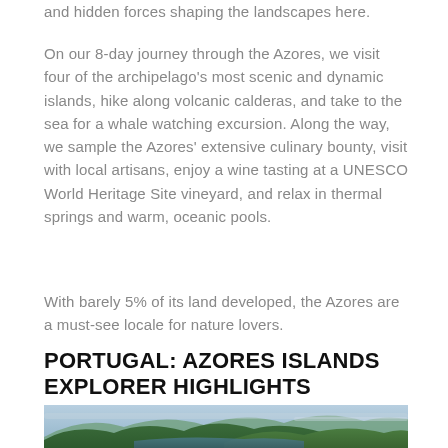and hidden forces shaping the landscapes here.
On our 8-day journey through the Azores, we visit four of the archipelago's most scenic and dynamic islands, hike along volcanic calderas, and take to the sea for a whale watching excursion. Along the way, we sample the Azores' extensive culinary bounty, visit with local artisans, enjoy a wine tasting at a UNESCO World Heritage Site vineyard, and relax in thermal springs and warm, oceanic pools.
With barely 5% of its land developed, the Azores are a must-see locale for nature lovers.
PORTUGAL: AZORES ISLANDS EXPLORER HIGHLIGHTS
[Figure (photo): Aerial or elevated view of lush green volcanic landscape of the Azores with ocean and mist in background]